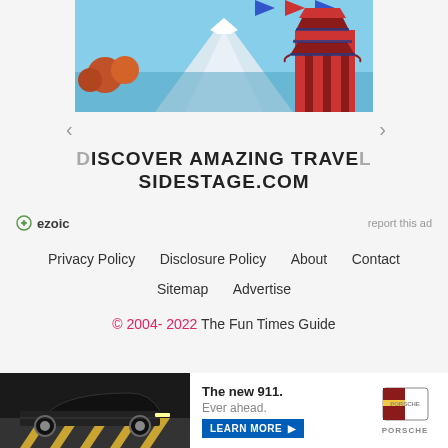[Figure (photo): Travel advertisement image showing Mount Fuji with snow cap, blue sky, cherry blossom trees, and a red Japanese pagoda on the right side]
DISCOVER AMAZING TRAVEL SIDESTAGE.COM
ezoic   report this ad
Privacy Policy   Disclosure Policy   About   Contact
Sitemap   Advertise
© 2004- 2022 The Fun Times Guide
[Figure (photo): Porsche advertisement showing a black Porsche 911 sports car on a road with chevron markings. Text reads: The new 911. Ever ahead. LEARN MORE. Porsche logo shown.]